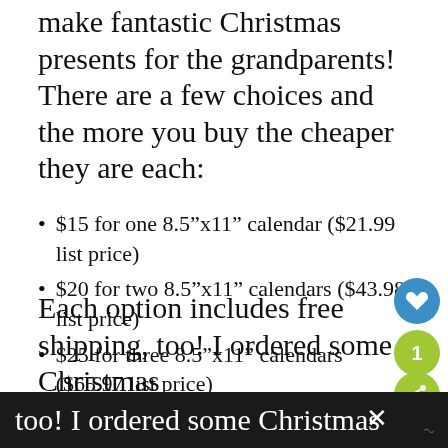make fantastic Christmas presents for the grandparents! There are a few choices and the more you buy the cheaper they are each:
$15 for one 8.5”x11” calendar ($21.99 list price)
$20 for two 8.5”x11” calendars ($43.98 list price)
$25 for three 8.5”x11” calendars ($65.97 list price)
Each option includes free shipping, too! I ordered some Christmas